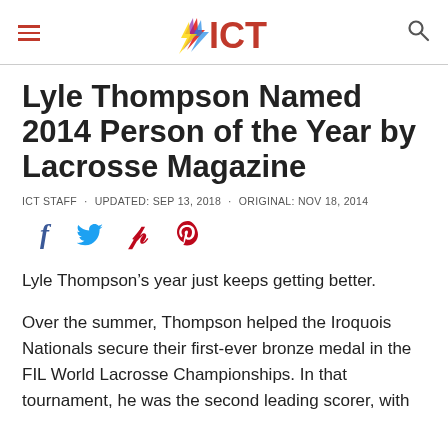ICT
Lyle Thompson Named 2014 Person of the Year by Lacrosse Magazine
ICT STAFF · UPDATED: SEP 13, 2018 · ORIGINAL: NOV 18, 2014
[Figure (other): Social media sharing icons: Facebook (f), Twitter (bird), Pinterest (P)]
Lyle Thompson's year just keeps getting better.
Over the summer, Thompson helped the Iroquois Nationals secure their first-ever bronze medal in the FIL World Lacrosse Championships. In that tournament, he was the second leading scorer, with